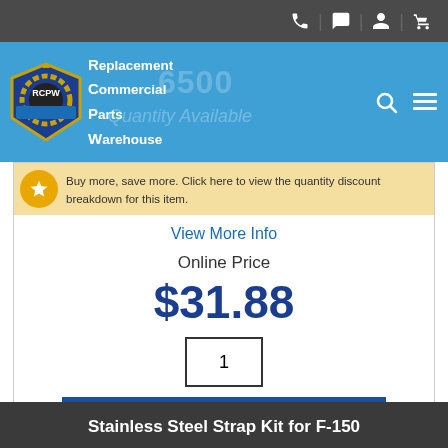RCPW - Replacement Commercial Parts Warehouse
Buy more, save more. Click here to view the quantity discount breakdown for this item.
View More Info
Online Price
$31.88
1
Add To Cart
Stainless Steel Strap Kit for F-150